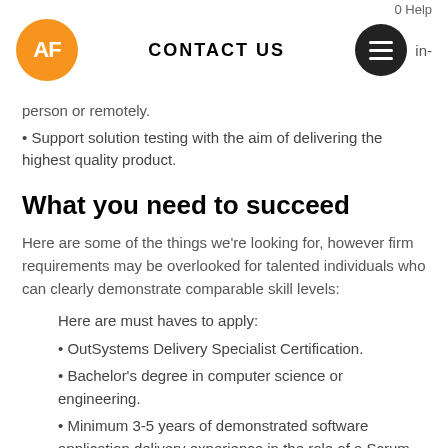AF | CONTACT US | in-
person or remotely.
• Support solution testing with the aim of delivering the highest quality product.
What you need to succeed
Here are some of the things we're looking for, however firm requirements may be overlooked for talented individuals who can clearly demonstrate comparable skill levels:
Here are must haves to apply:
• OutSystems Delivery Specialist Certification.
• Bachelor's degree in computer science or engineering.
• Minimum 3-5 years of demonstrated software application delivery experience in the role of a Scrum Master, Agile Coach, and/or Business Analyst.
• Minimum 7 years of demonstrated